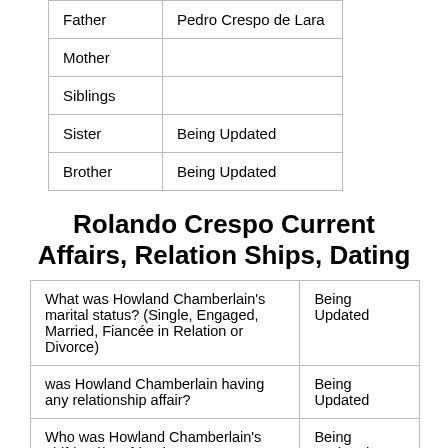|  |  |
| --- | --- |
| Father | Pedro Crespo de Lara |
| Mother |  |
| Siblings |  |
| Sister | Being Updated |
| Brother | Being Updated |
Rolando Crespo Current Affairs, Relation Ships, Dating
|  |  |
| --- | --- |
| What was Howland Chamberlain's marital status? (Single, Engaged, Married, Fiancée in Relation or Divorce) | Being Updated |
| was Howland Chamberlain having any relationship affair? | Being Updated |
| Who was Howland Chamberlain's girlfriend/Boyfriend? | Being Updated |